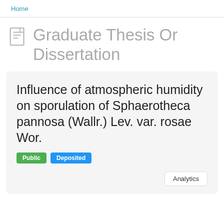Home
Graduate Thesis Or Dissertation
Influence of atmospheric humidity on sporulation of Sphaerotheca pannosa (Wallr.) Lev. var. rosae Wor.
Public  Deposited
Analytics